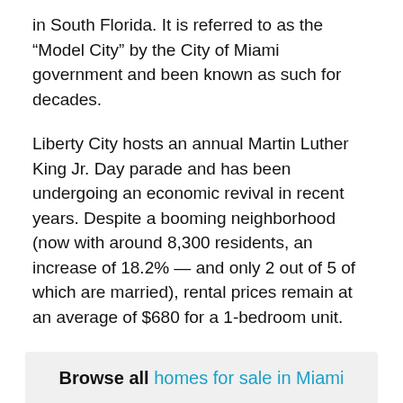in South Florida. It is referred to as the “Model City” by the City of Miami government and been known as such for decades.
Liberty City hosts an annual Martin Luther King Jr. Day parade and has been undergoing an economic revival in recent years. Despite a booming neighborhood (now with around 8,300 residents, an increase of 18.2% — and only 2 out of 5 of which are married), rental prices remain at an average of $680 for a 1-bedroom unit.
Browse all homes for sale in Miami
[Figure (photo): Exterior photo of a house with palm trees in Miami, partially visible at the bottom of the page.]